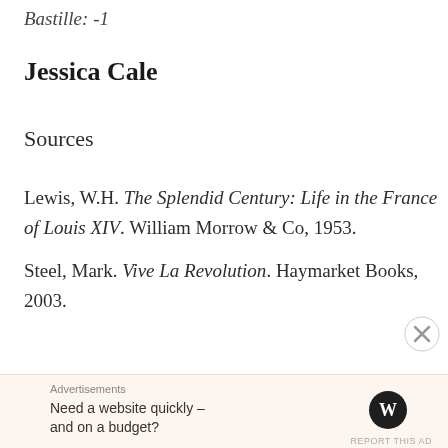Bastille: -1
Jessica Cale
Sources
Lewis, W.H. The Splendid Century: Life in the France of Louis XIV. William Morrow & Co, 1953.
Steel, Mark. Vive La Revolution. Haymarket Books, 2003.
Advertisements
Need a website quickly – and on a budget?